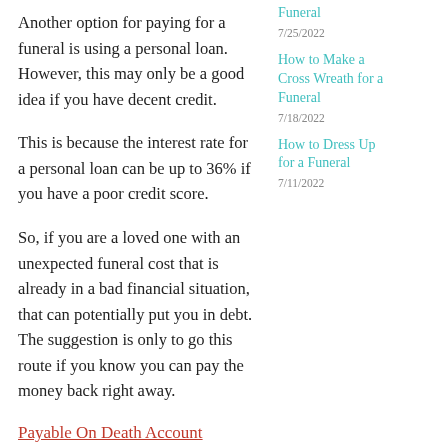Another option for paying for a funeral is using a personal loan. However, this may only be a good idea if you have decent credit.
This is because the interest rate for a personal loan can be up to 36% if you have a poor credit score.
So, if you are a loved one with an unexpected funeral cost that is already in a bad financial situation, that can potentially put you in debt. The suggestion is only to go this route if you know you can pay the money back right away.
Payable On Death Account
Funeral
7/25/2022
How to Make a Cross Wreath for a Funeral
7/18/2022
How to Dress Up for a Funeral
7/11/2022